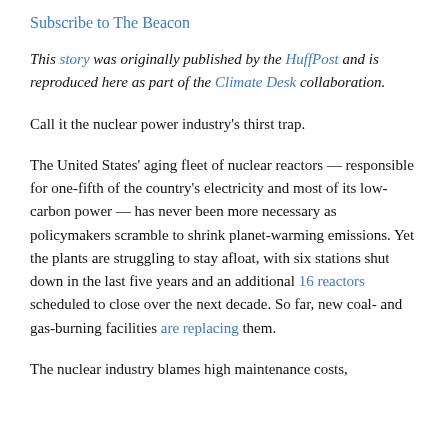Subscribe to The Beacon
This story was originally published by the HuffPost and is reproduced here as part of the Climate Desk collaboration.
Call it the nuclear power industry's thirst trap.
The United States' aging fleet of nuclear reactors — responsible for one-fifth of the country's electricity and most of its low-carbon power — has never been more necessary as policymakers scramble to shrink planet-warming emissions. Yet the plants are struggling to stay afloat, with six stations shut down in the last five years and an additional 16 reactors scheduled to close over the next decade. So far, new coal- and gas-burning facilities are replacing them.
The nuclear industry blames high maintenance costs,